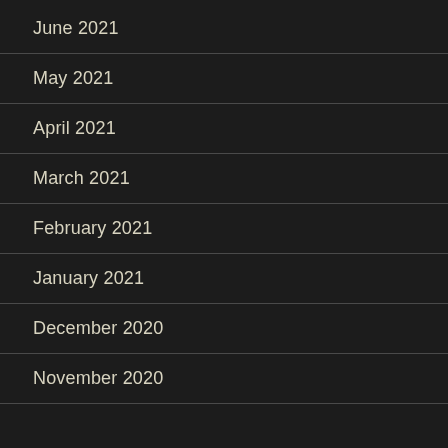June 2021
May 2021
April 2021
March 2021
February 2021
January 2021
December 2020
November 2020